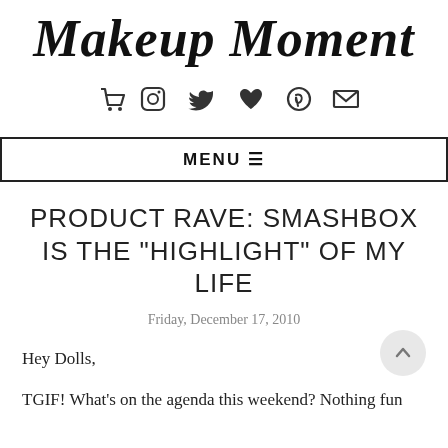Makeup Moment
[Figure (infographic): Social media icons: shopping cart, Instagram, Twitter, heart, Pinterest, email/envelope]
MENU ☰
PRODUCT RAVE: SMASHBOX IS THE "HIGHLIGHT" OF MY LIFE
Friday, December 17, 2010
Hey Dolls,
TGIF! What's on the agenda this weekend? Nothing fun